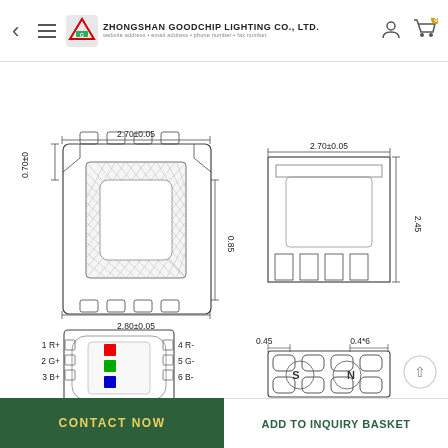Zhongshan Goodchip Lighting Co., Ltd.
[Figure (engineering-diagram): Four engineering diagrams of an SMD RGB LED (R2727URGBW-2.5AM): top-left shows top-view cross-section with dimensions 2.70±0.05 x 2.80±0.05 mm and height 0.85mm; top-right shows side-view with dimensions 2.70±0.05 x 2.45mm; bottom-left shows internal LED die layout with R, G, B pads labeled 1R+, 2G+, 3B+ on left and 4R-, 5G-, 6B- on right; bottom-right shows bottom pad layout with S and N markings, dimensions 0.45, 0.4x6, and 1.7mm. Part number R2727URGBW-2.5AM shown below bottom-left diagram.]
CONTACT NOW
ADD TO INQUIRY BASKET